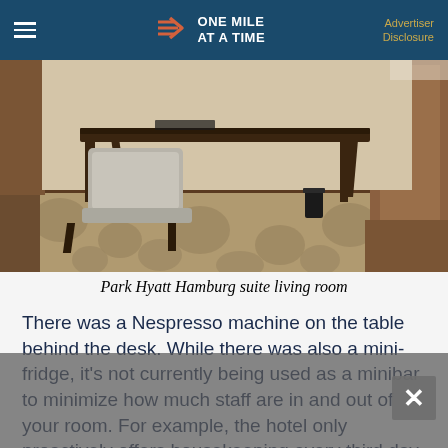ONE MILE AT A TIME | Advertiser Disclosure
[Figure (photo): Hotel suite living room with a dark wood desk/table, a grey upholstered chair, patterned carpet in gold and grey tones, and wood-paneled walls.]
Park Hyatt Hamburg suite living room
There was a Nespresso machine on the table behind the desk. While there was also a mini-fridge, it's not currently being used as a minibar to minimize how much staff are in and out of your room. For example, the hotel only proactively offers housekeeping every third day, but you can have it every day if you'd like.